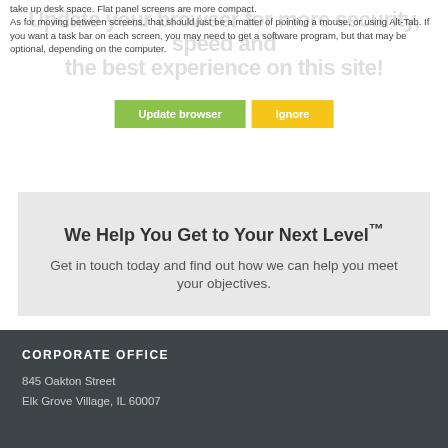take up desk space. Flat panel screens are more compact. As for moving between screens, that should just be a matter of pointing a mouse, or using Alt-Tab. If you want a task bar on each screen, you may need to get a software program, but that may be optional, depending on the computer.
[Figure (screenshot): Browser update warning overlay with 'Update your browser for more security, speed and the best experience on this site!' message and Update browser / Ignore buttons]
We Help You Get to Your Next Level™
Get in touch today and find out how we can help you meet your objectives.
CALL US
CORPORATE OFFICE
845 Oakton Street
Elk Grove Village, IL 60007